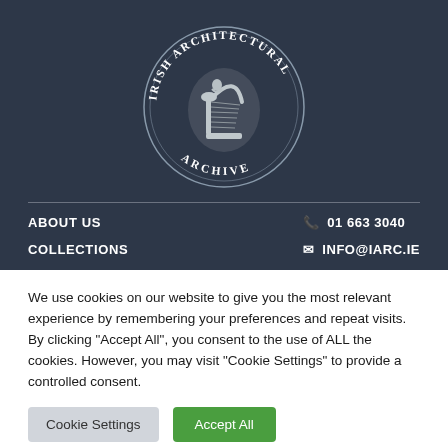[Figure (logo): Irish Architectural Archive circular logo with harp emblem in the center, text 'IRISH ARCHITECTURAL ARCHIVE' arranged in a circle]
ABOUT US
COLLECTIONS
📞 01 663 3040
✉ INFO@IARC.IE
We use cookies on our website to give you the most relevant experience by remembering your preferences and repeat visits. By clicking "Accept All", you consent to the use of ALL the cookies. However, you may visit "Cookie Settings" to provide a controlled consent.
Cookie Settings | Accept All